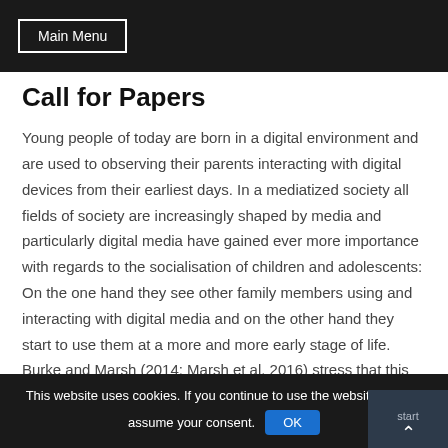Main Menu
Call for Papers
Young people of today are born in a digital environment and are used to observing their parents interacting with digital devices from their earliest days. In a mediatized society all fields of society are increasingly shaped by media and particularly digital media have gained ever more importance with regards to the socialisation of children and adolescents: On the one hand they see other family members using and interacting with digital media and on the other hand they start to use them at a more and more early stage of life. Burke and Marsh (2014; Marsh et al. 2016) stress that this does not only lead to diverse activities and online practices but also that in these experiences the online domain cannot be separated from the offline domain anymore – both are seamlessly
This website uses cookies. If you continue to use the website, we will assume your consent. OK